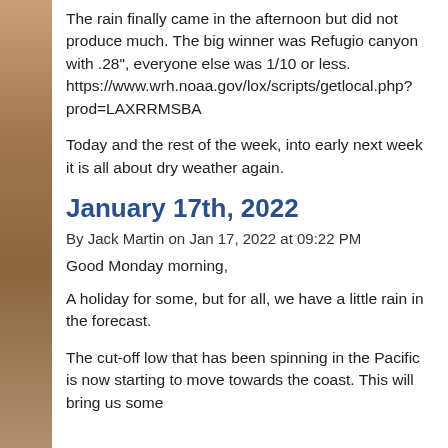The rain finally came in the afternoon but did not produce much. The big winner was Refugio canyon with .28", everyone else was 1/10 or less. https://www.wrh.noaa.gov/lox/scripts/getlocal.php?prod=LAXRRMSBA
Today and the rest of the week, into early next week it is all about dry weather again.
January 17th, 2022
By Jack Martin on Jan 17, 2022 at 09:22 PM
Good Monday morning,
A holiday for some, but for all, we have a little rain in the forecast.
The cut-off low that has been spinning in the Pacific is now starting to move towards the coast. This will bring us some